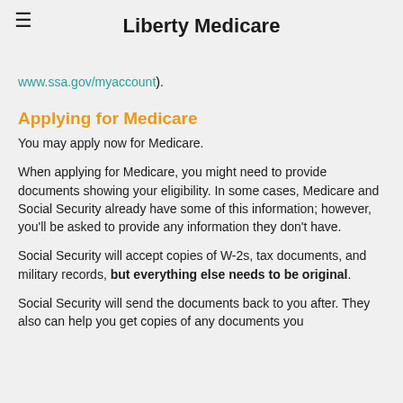Liberty Medicare
www.ssa.gov/myaccount).
Applying for Medicare
You may apply now for Medicare.
When applying for Medicare, you might need to provide documents showing your eligibility. In some cases, Medicare and Social Security already have some of this information; however, you'll be asked to provide any information they don't have.
Social Security will accept copies of W-2s, tax documents, and military records, but everything else needs to be original.
Social Security will send the documents back to you after. They also can help you get copies of any documents you